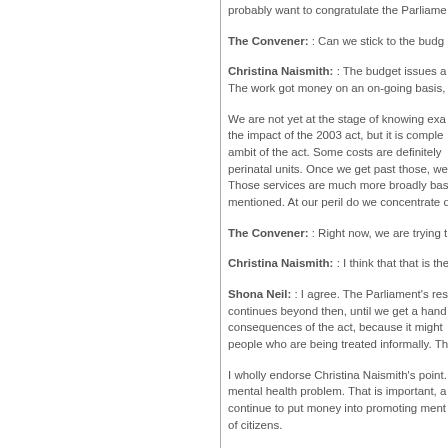probably want to congratulate the Parliame…
The Convener: : Can we stick to the budge…
Christina Naismith: : The budget issues a… The work got money on an on-going basis,…
We are not yet at the stage of knowing exa… the impact of the 2003 act, but it is comple… ambit of the act. Some costs are definitely… perinatal units. Once we get past those, we… Those services are much more broadly bas… mentioned. At our peril do we concentrate o…
The Convener: : Right now, we are trying t…
Christina Naismith: : I think that that is the…
Shona Neil: : I agree. The Parliament's res… continues beyond then, until we get a hand… consequences of the act, because it might… people who are being treated informally. Th…
I wholly endorse Christina Naismith's point.… mental health problem. That is important, a… continue to put money into promoting ment… of citizens.